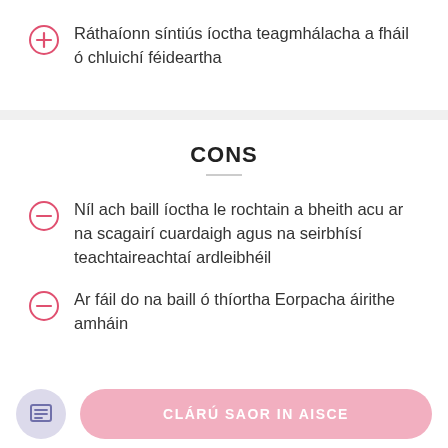Ráthaíonn síntiús íoctha teagmhálacha a fháil ó chluichí féideartha
CONS
Níl ach baill íoctha le rochtain a bheith acu ar na scagairí cuardaigh agus na seirbhísí teachtaireachtaí ardleibhéil
Ar fáil do na baill ó thíortha Eorpacha áirithe amháin
CLÁRÚ SAOR IN AISCE